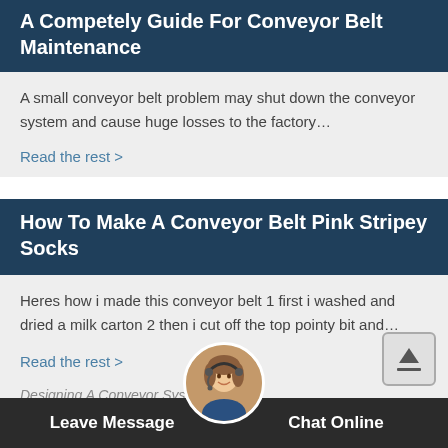A Competely Guide For Conveyor Belt Maintenance
A small conveyor belt problem may shut down the conveyor system and cause huge losses to the factory…
Read the rest >
How To Make A Conveyor Belt Pink Stripey Socks
Heres how i made this conveyor belt 1 first i washed and dried a milk carton 2 then i cut off the top pointy bit and…
Read the rest >
[Figure (photo): Customer service representative avatar, circular photo of a woman with headset]
Leave Message    Chat Online
Designing A Conveyor System